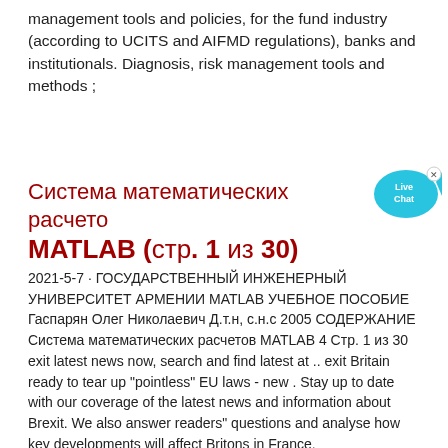management tools and policies, for the fund industry (according to UCITS and AIFMD regulations), banks and institutionals. Diagnosis, risk management tools and methods ;
Система математических расчетов MATLAB (стр. 1 из 30)
2021-5-7 · ГОСУДАРСТВЕННЫЙ ИНЖЕНЕРНЫЙ УНИВЕРСИТЕТ АРМЕНИИ MATLAB УЧЕБНОЕ ПОСОБИЕ Гаспарян Олег Николаевич Д.т.н, с.н.с 2005 СОДЕРЖАНИЕ Система математических расчетов MATLAB 4 Стр. 1 из 30 exit latest news now, search and find latest at .. exit Britain ready to tear up "pointless" EU laws - new . Stay up to date with our coverage of the latest news and information about Brexit. We also answer readers" questions and analyse how key developments will affect Britons in France.